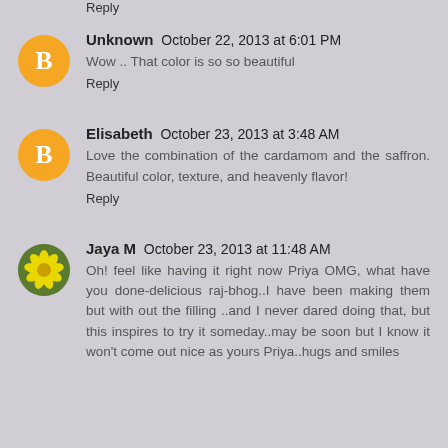Reply
Unknown  October 22, 2013 at 6:01 PM
Wow .. That color is so so beautiful
Reply
Elisabeth  October 23, 2013 at 3:48 AM
Love the combination of the cardamom and the saffron. Beautiful color, texture, and heavenly flavor!
Reply
Jaya M  October 23, 2013 at 11:48 AM
Oh! feel like having it right now Priya OMG, what have you done-delicious raj-bhog..I have been making them but with out the filling ..and I never dared doing that, but this inspires to try it someday..may be soon but I know it won't come out nice as yours Priya..hugs and smiles